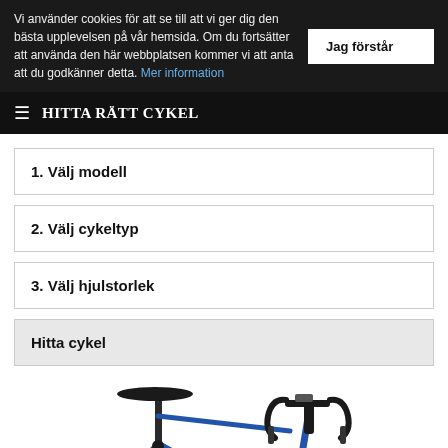Vi använder cookies för att se till att vi ger dig den bästa upplevelsen på vår hemsida. Om du fortsätter att använda den här webbplatsen kommer vi att anta att du godkänner detta. Mer information
Jag förstår
≡ HITTA RÄTT CYKEL
1. Välj modell
2. Välj cykeltyp
3. Välj hjulstorlek
Hitta cykel
[Figure (photo): Partial photo of a blue bicycle showing the seat/saddle area on the left and the handlebar area on the right against a white background]